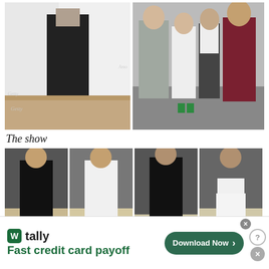[Figure (photo): Fashion show photo - model in black long coat against white backdrop]
[Figure (photo): Group of people at fashion show - women in dresses and man in burgundy suit]
The show
[Figure (photo): Model in black outfit on runway]
[Figure (photo): Model in white outfit on runway]
[Figure (photo): Model in black outfit on runway]
[Figure (photo): Model in white bralette and shorts on runway]
[Figure (screenshot): Tally advertisement - Fast credit card payoff with Download Now button]